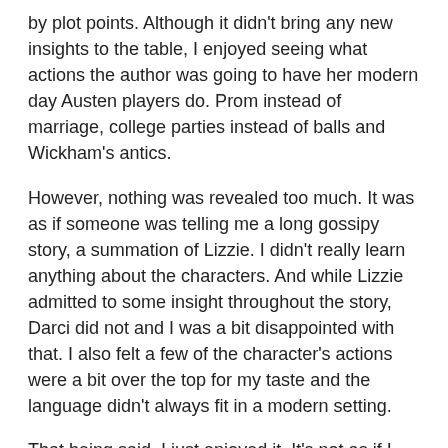by plot points. Although it didn't bring any new insights to the table, I enjoyed seeing what actions the author was going to have her modern day Austen players do. Prom instead of marriage, college parties instead of balls and Wickham's antics.
However, nothing was revealed too much. It was as if someone was telling me a long gossipy story, a summation of Lizzie. I didn't really learn anything about the characters. And while Lizzie admitted to some insight throughout the story, Darci did not and I was a bit disappointed with that. I also felt a few of the character's actions were a bit over the top for my taste and the language didn't always fit in a modern setting.
That being said, I just enjoyed it. It's not as if I wanted to stop reading it. In fact, I couldn't wait to pick it up again and see what spin the author put on events. I really did like the end too and Lizzie and Darci's decision.
I think that this may appeal to younger teens and even middle grade readers. It may also be a great way to